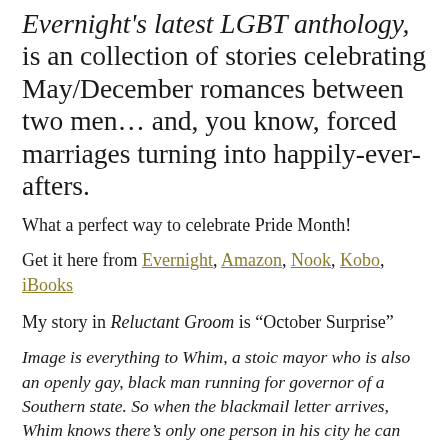Evernight's latest LGBT anthology, is an collection of stories celebrating May/December romances between two men… and, you know, forced marriages turning into happily-ever-afters.
What a perfect way to celebrate Pride Month!
Get it here from Evernight, Amazon, Nook, Kobo, iBooks
My story in Reluctant Groom is “October Surprise”
Image is everything to Whim, a stoic mayor who is also an openly gay, black man running for governor of a Southern state. So when the blackmail letter arrives, Whim knows there’s only one person in his city he can trust. Sunshine, raised in Whim’s aunt’s foster home, has idolized Whim